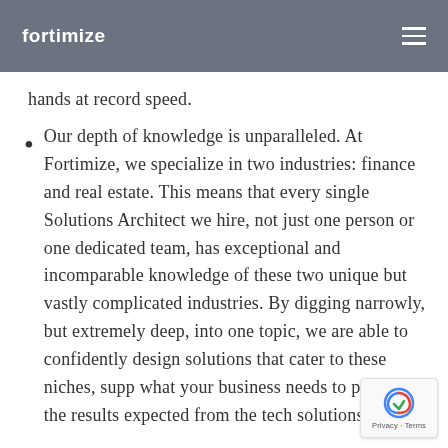fortimize
hands at record speed.
Our depth of knowledge is unparalleled. At Fortimize, we specialize in two industries: finance and real estate. This means that every single Solutions Architect we hire, not just one person or one dedicated team, has exceptional and incomparable knowledge of these two unique but vastly complicated industries. By digging narrowly, but extremely deep, into one topic, we are able to confidently design solutions that cater to these niches, supp... what your business needs to produce the... results expected from the tech solutions it...